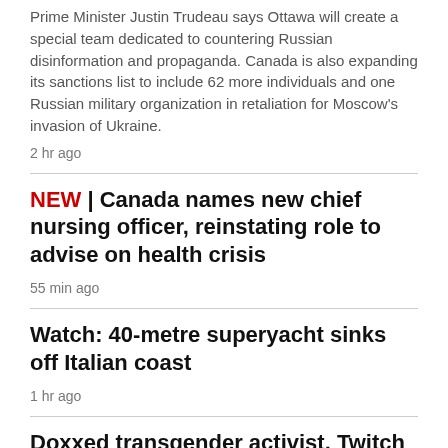Prime Minister Justin Trudeau says Ottawa will create a special team dedicated to countering Russian disinformation and propaganda. Canada is also expanding its sanctions list to include 62 more individuals and one Russian military organization in retaliation for Moscow's invasion of Ukraine.
2 hr ago
NEW | Canada names new chief nursing officer, reinstating role to advise on health crisis
55 min ago
Watch: 40-metre superyacht sinks off Italian coast
1 hr ago
Doxxed transgender activist, Twitch streamer leaving Canada due to ongoing threats